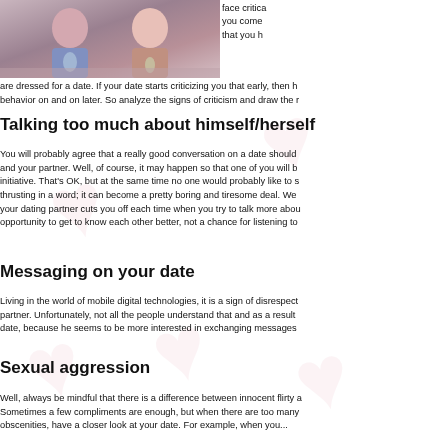[Figure (photo): Two people at a table, appears to be on a date, one holding a glass]
face critica you come that you h are dressed for a date. If your date starts criticizing you that early, then h behavior on and on later. So analyze the signs of criticism and draw the r
Talking too much about himself/herself
You will probably agree that a really good conversation on a date should and your partner. Well, of course, it may happen so that one of you will b initiative. That's OK, but at the same time no one would probably like to s thrusting in a word; it can become a pretty boring and tiresome deal. Wel your dating partner cuts you off each time when you try to talk more abou opportunity to get to know each other better, not a chance for listening to
Messaging on your date
Living in the world of mobile digital technologies, it is a sign of disrespect partner. Unfortunately, not all the people understand that and as a result date, because he seems to be more interested in exchanging messages
Sexual aggression
Well, always be mindful that there is a difference between innocent flirty a Sometimes a few compliments are enough, but when there are too many obscenities, have a closer look at your date. For example, when you...